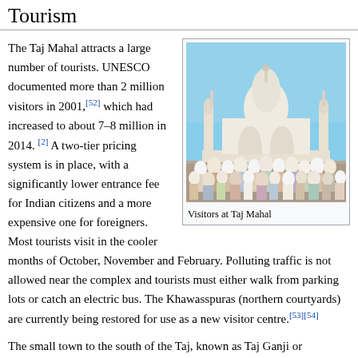Tourism
The Taj Mahal attracts a large number of tourists. UNESCO documented more than 2 million visitors in 2001,[52] which had increased to about 7–8 million in 2014.[2] A two-tier pricing system is in place, with a significantly lower entrance fee for Indian citizens and a more expensive one for foreigners. Most tourists visit in the cooler months of October, November and February. Polluting traffic is not allowed near the complex and tourists must either walk from parking lots or catch an electric bus. The Khawasspuras (northern courtyards) are currently being restored for use as a new visitor centre.[53][54]
[Figure (photo): Crowd of visitors at the Taj Mahal, showing tourists from behind with the white marble dome and minarets in the background against a blue sky.]
Visitors at Taj Mahal
The small town to the south of the Taj, known as Taj Ganji or Mumtazabad, was originally constructed with caravanserais